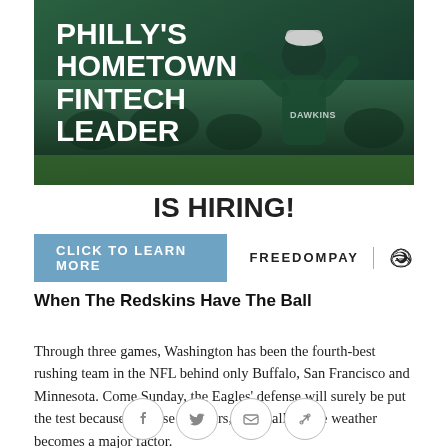[Figure (photo): Advertisement banner showing an Eagles fan in teal jersey with arms raised at a stadium, with text overlay: PHILLY'S HOMETOWN FINTECH LEADER IS HIRING!]
CLICK TO LEARN MORE
FREEDOMPAY | [Eagles logo]
When The Redskins Have The Ball
Through three games, Washington has been the fourth-best rushing team in the NFL behind only Buffalo, San Francisco and Minnesota. Come Sunday, the Eagles' defense will surely be put the test because of those numbers, especially if the weather becomes a major factor.